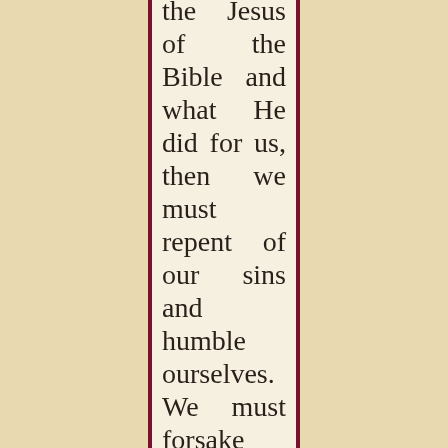the Jesus of the Bible and what He did for us, then we must repent of our sins and humble ourselves. We must forsake our sins. If we believe in Jesus Christ and if we repent, we are under